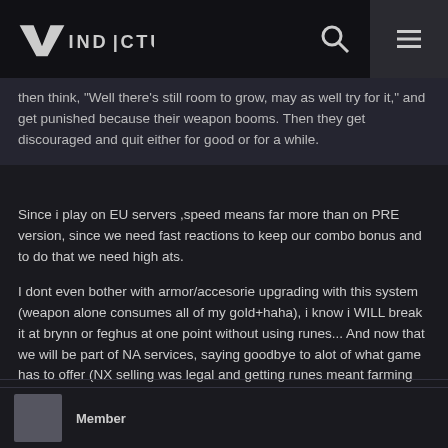Vindictus
then think, "Well there's still room to grow, may as well try for it," and get punished because their weapon booms. Then they get discouraged and quit either for good or for a while.
Since i play on EU servers ,speed means far more than on PRE version, since we need fast reactions to keep our combo bonus and to do that we need high ats.
I dont even bother with armor/accesorie upgrading with this system (weapon alone consumes all of my gold+haha), i know i WILL break it at brynn or feghus at one point without using runes... And now that we will be part of NA services, saying goodbye to alot of what game has to offer (NX selling was legal and getting runes meant farming and buying from nx sellers)
5 Days remaining, will see how it will play out.
Member